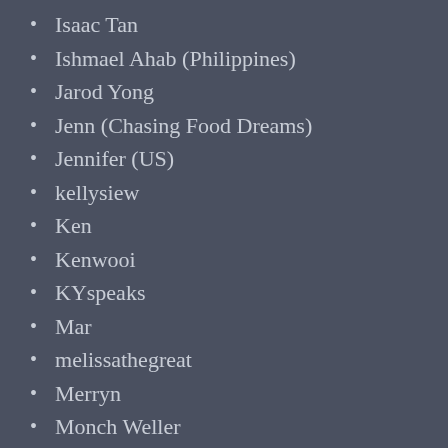Isaac Tan
Ishmael Ahab (Philippines)
Jarod Yong
Jenn (Chasing Food Dreams)
Jennifer (US)
kellysiew
Ken
Kenwooi
KYspeaks
Mar
melissathegreat
Merryn
Monch Weller
Nancy Chan
NuxV
Opal (US)